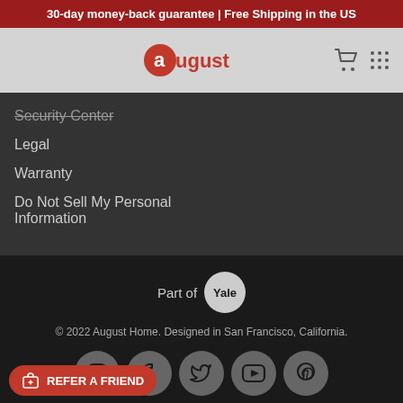30-day money-back guarantee | Free Shipping in the US
[Figure (logo): August smart lock brand logo with red circle and white 'a' letter followed by 'ugust' text]
Security Center
Legal
Warranty
Do Not Sell My Personal Information
Part of Yale
© 2022 August Home. Designed in San Francisco, California.
[Figure (infographic): Social media icons row: Instagram, Facebook, Twitter, YouTube, Pinterest]
REFER A FRIEND